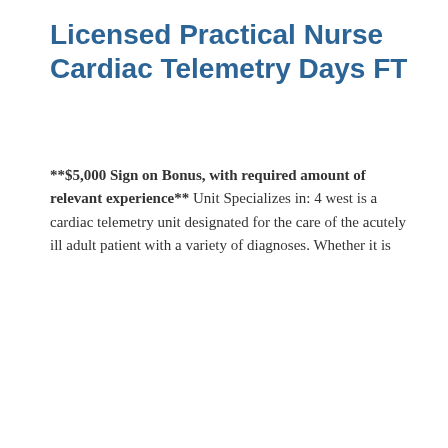Licensed Practical Nurse Cardiac Telemetry Days FT
**$5,000 Sign on Bonus, with required amount of relevant experience** Unit Specializes in: 4 west is a cardiac telemetry unit designated for the care of the acutely ill adult patient with a variety of diagnoses. Whether it is
This job listing is no longer active.
Cookie Settings   Got it
We use cookies so that we can remember you and understand how you use our site. If you do not agree with our use of cookies, please change the current settings found in our Cookie Policy. Otherwise, you agree to the use of the cookies as they are currently set.